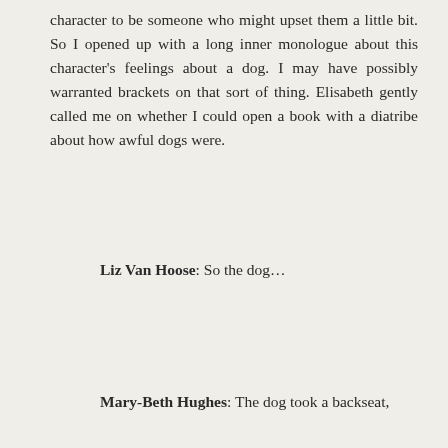character to be someone who might upset them a little bit. So I opened up with a long inner monologue about this character's feelings about a dog. I may have possibly warranted brackets on that sort of thing. Elisabeth gently called me on whether I could open a book with a diatribe about how awful dogs were.
Liz Van Hoose: So the dog…
Mary-Beth Hughes: The dog took a backseat,